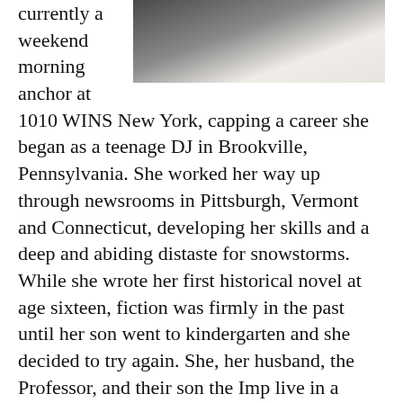[Figure (photo): Partial photo of two people, cropped at top of page, showing dark jacket and light clothing]
currently a weekend morning anchor at 1010 WINS New York, capping a career she began as a teenage DJ in Brookville, Pennsylvania. She worked her way up through newsrooms in Pittsburgh, Vermont and Connecticut, developing her skills and a deep and abiding distaste for snowstorms. While she wrote her first historical novel at age sixteen, fiction was firmly in the past until her son went to kindergarten and she decided to try again. She, her husband, the Professor, and their son the Imp live in a Connecticut house owned by their cat.
LINKS:
Website: https://kathleenmarplekalb.com/
SOCIAL:

Facebook: